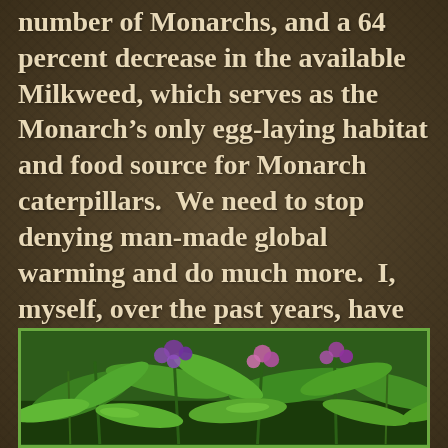number of Monarchs, and a 64 percent decrease in the available Milkweed, which serves as the Monarch's only egg-laying habitat and food source for Monarch caterpillars.  We need to stop denying man-made global warming and do much more.  I, myself, over the past years, have seen a dramatic decline in many butterfly and bee species.]
[Figure (photo): Photograph of green plants and purple/pink flowers, likely milkweed or similar garden plants, shown from a low angle with lush foliage.]